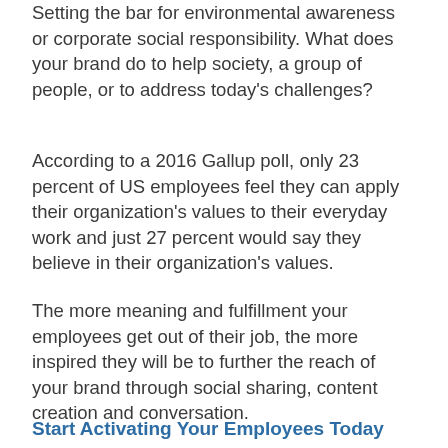Setting the bar for environmental awareness or corporate social responsibility. What does your brand do to help society, a group of people, or to address today's challenges?
According to a 2016 Gallup poll, only 23 percent of US employees feel they can apply their organization's values to their everyday work and just 27 percent would say they believe in their organization's values.
The more meaning and fulfillment your employees get out of their job, the more inspired they will be to further the reach of your brand through social sharing, content creation and conversation.
Start Activating Your Employees Today